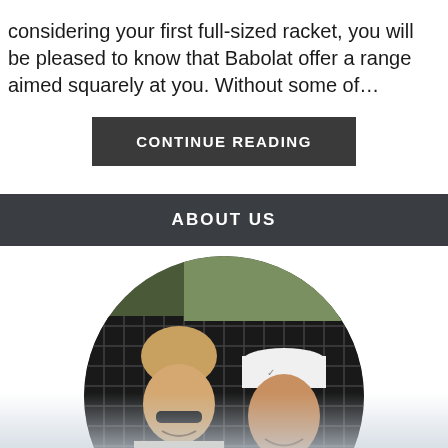considering your first full-sized racket, you will be pleased to know that Babolat offer a range aimed squarely at you. Without some of...
CONTINUE READING
ABOUT US
[Figure (photo): Circular cropped photo of two young men smiling at a tennis court. The man on the left has blond hair and sunglasses. The man on the right wears a white Nike cap. A chain-link fence and trees are visible in the background.]